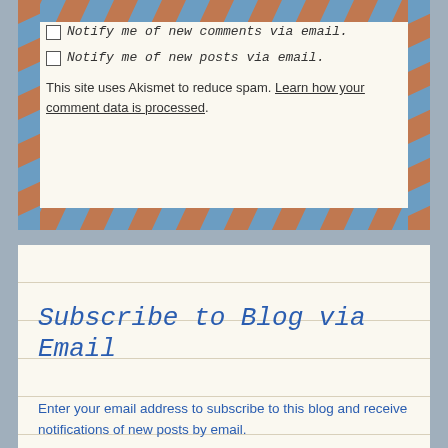Notify me of new comments via email.
Notify me of new posts via email.
This site uses Akismet to reduce spam. Learn how your comment data is processed.
Subscribe to Blog via Email
Enter your email address to subscribe to this blog and receive notifications of new posts by email.
Enter your email address